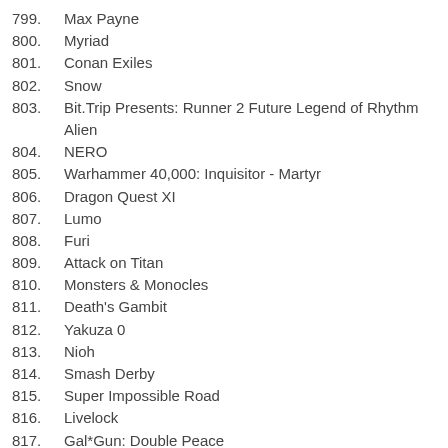799. Max Payne
800. Myriad
801. Conan Exiles
802. Snow
803. Bit.Trip Presents: Runner 2 Future Legend of Rhythm Alien
804. NERO
805. Warhammer 40,000: Inquisitor - Martyr
806. Dragon Quest XI
807. Lumo
808. Furi
809. Attack on Titan
810. Monsters & Monocles
811. Death's Gambit
812. Yakuza 0
813. Nioh
814. Smash Derby
815. Super Impossible Road
816. Livelock
817. Gal*Gun: Double Peace
818. Grand Turismo Sport
819. Puzzle Quest: Challenge of the Warlords
820. Sheltered